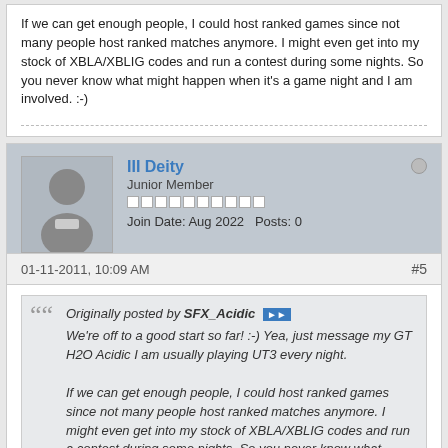If we can get enough people, I could host ranked games since not many people host ranked matches anymore. I might even get into my stock of XBLA/XBLIG codes and run a contest during some nights. So you never know what might happen when it's a game night and I am involved. :-)
III Deity
Junior Member
Join Date: Aug 2022  Posts: 0
01-11-2011, 10:09 AM
#5
Originally posted by SFX_Acidic
We're off to a good start so far! :-) Yea, just message my GT H2O Acidic I am usually playing UT3 every night.

If we can get enough people, I could host ranked games since not many people host ranked matches anymore. I might even get into my stock of XBLA/XBLIG codes and run a contest during some nights. So you never know what might happen when it's a game night and I am involved. :-)
That's great man. I'm always open to some new friends for UT3. Nope